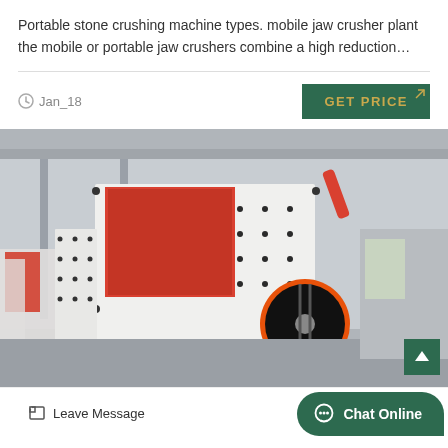Portable stone crushing machine types. mobile jaw crusher plant the mobile or portable jaw crushers combine a high reduction…
Jan_18
GET PRICE
[Figure (photo): Industrial stone crushing machine (hammer crusher / impact crusher) in white and red/orange color, displayed outdoors in a factory yard. Shows a large hopper opening at the top, a black flywheel on the side, and multiple similar units lined up in the background.]
Leave Message
Chat Online